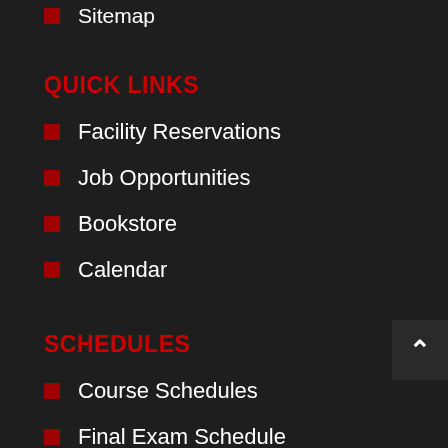Sitemap
QUICK LINKS
Facility Reservations
Job Opportunities
Bookstore
Calendar
SCHEDULES
Course Schedules
Final Exam Schedule
Class Cancellations
2-Year Cycle of Courses